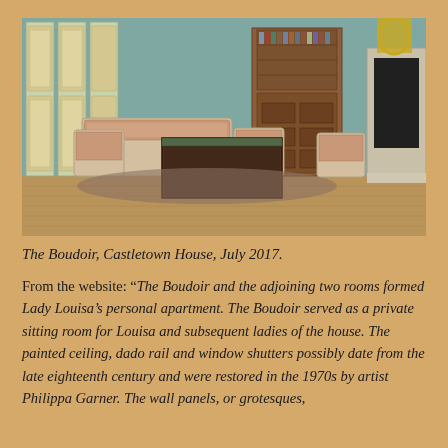[Figure (photo): Interior photograph of The Boudoir at Castletown House, July 2017. The room features teal/green walls with tall decorative painted panels (grotesques), ornate white and gilt French-style chairs and a sofa with tapestry upholstery, a central dark wooden table, a large mahogany bureau bookcase/secretary desk, a marble fireplace on the right, and a patterned floor rug.]
The Boudoir, Castletown House, July 2017.
From the website: “The Boudoir and the adjoining two rooms formed Lady Louisa’s personal apartment. The Boudoir served as a private sitting room for Louisa and subsequent ladies of the house. The painted ceiling, dado rail and window shutters possibly date from the late eighteenth century and were restored in the 1970s by artist Philippa Garner. The wall panels, or grotesques,